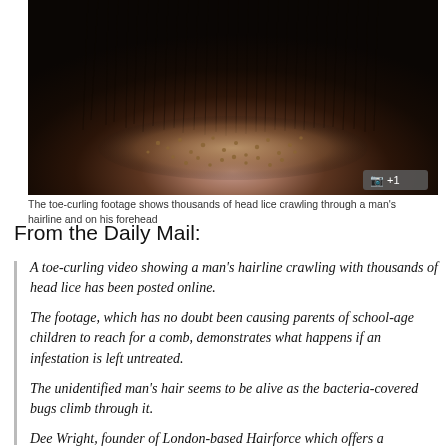[Figure (photo): Close-up photo of a man's hairline infested with thousands of head lice crawling through the hair and on the forehead. The image is dark with brownish tones showing dense clusters of lice particularly visible at the hairline. A camera badge with '+1' appears in the bottom right corner.]
The toe-curling footage shows thousands of head lice crawling through a man's hairline and on his forehead
From the Daily Mail:
A toe-curling video showing a man's hairline crawling with thousands of head lice has been posted online.
The footage, which has no doubt been causing parents of school-age children to reach for a comb, demonstrates what happens if an infestation is left untreated.
The unidentified man's hair seems to be alive as the bacteria-covered bugs climb through it.
Dee Wright, founder of London-based Hairforce which offers a specialised ‘Lice Assasins’ service, told MailOnline: